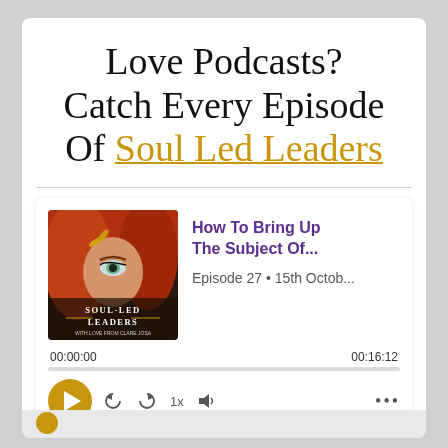Love Podcasts? Catch Every Episode Of Soul Led Leaders
[Figure (screenshot): Podcast player card for Soul Led Leaders podcast, showing episode 27 - 'How To Bring Up The Subject Of...' aired 15th Octob... with duration 00:16:12, play button and controls including rewind, forward, 1x speed, volume, and more options dots.]
More Episodes